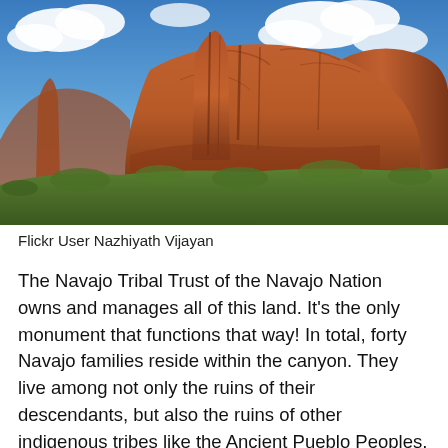[Figure (photo): Red rock canyon landscape with tall sandstone cliffs and formations under a blue sky with white clouds. Lush green shrubs at the base of the rocks.]
Flickr User Nazhiyath Vijayan
The Navajo Tribal Trust of the Navajo Nation owns and manages all of this land. It's the only monument that functions that way! In total, forty Navajo families reside within the canyon. They live among not only the ruins of their descendants, but also the ruins of other indigenous tribes like the Ancient Pueblo Peoples, or Anasazi. To protect the privacy of these peoples, visitors aren't permitted to explore in the canyons without a Navajo guide or a park ranger. The only exception is the White